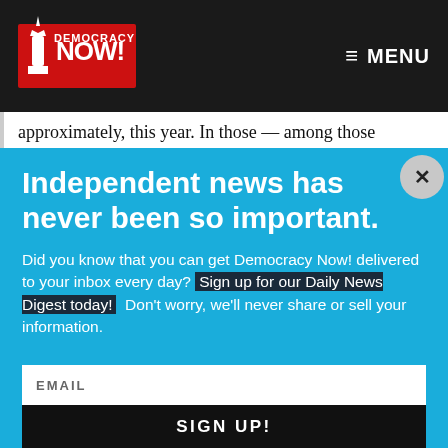Democracy Now! — MENU
approximately, this year. In those — among those
Independent news has never been so important.
Did you know that you can get Democracy Now! delivered to your inbox every day? Sign up for our Daily News Digest today! Don't worry, we'll never share or sell your information.
EMAIL
SIGN UP!